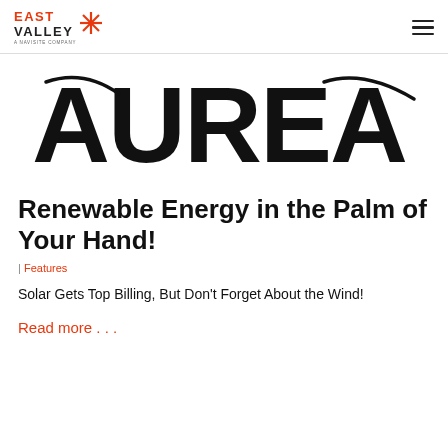EAST VALLEY — A Navisite Company
[Figure (logo): AUREA large wordmark logo in black bold italic-style lettering with decorative swoosh lines through the letters A and A]
Renewable Energy in the Palm of Your Hand!
| Features
Solar Gets Top Billing, But Don't Forget About the Wind!
Read more . . .